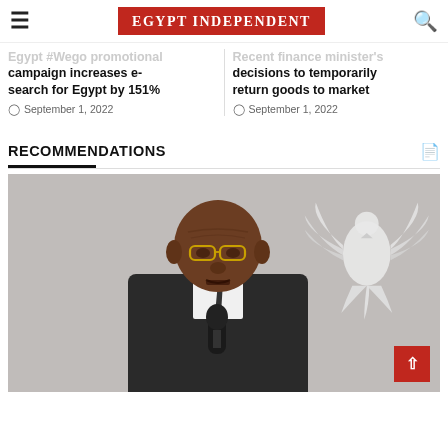Egypt Independent
Egypt #Wego promotional campaign increases e-search for Egypt by 151%
September 1, 2022
Recent finance minister's decisions to temporarily return goods to market
September 1, 2022
RECOMMENDATIONS
[Figure (photo): Man in glasses speaking at a podium, with a white eagle emblem in the background]